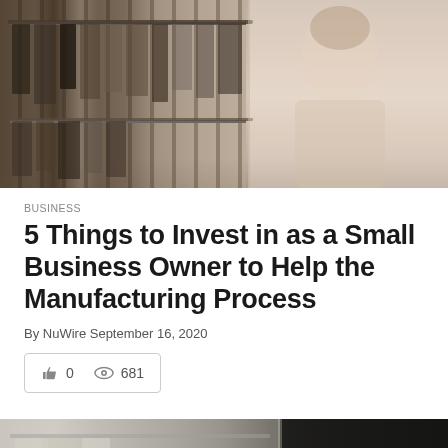[Figure (photo): Woman in pink blouse standing in front of clothing racks in a retail store or boutique, arms crossed, thoughtful pose]
BUSINESS
5 Things to Invest in as a Small Business Owner to Help the Manufacturing Process
By NuWire September 16, 2020
0  681
[Figure (photo): Partial view of a manufacturing or warehouse interior, partially cropped at bottom of page]